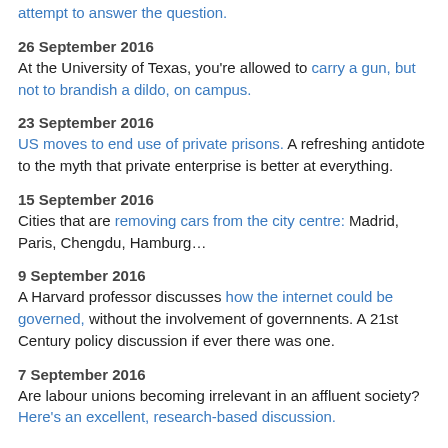attempt to answer the question.
26 September 2016
At the University of Texas, you're allowed to carry a gun, but not to brandish a dildo, on campus.
23 September 2016
US moves to end use of private prisons. A refreshing antidote to the myth that private enterprise is better at everything.
15 September 2016
Cities that are removing cars from the city centre: Madrid, Paris, Chengdu, Hamburg…
9 September 2016
A Harvard professor discusses how the internet could be governed, without the involvement of governnents. A 21st Century policy discussion if ever there was one.
7 September 2016
Are labour unions becoming irrelevant in an affluent society? Here's an excellent, research-based discussion.